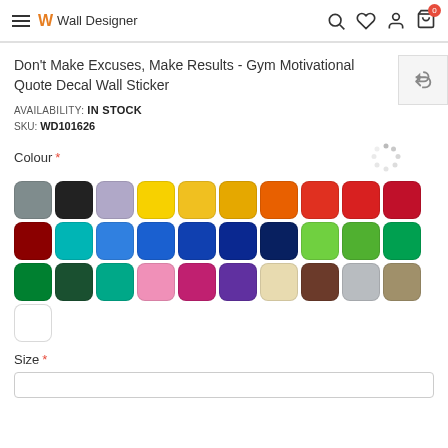Wall Designer
Don't Make Excuses, Make Results - Gym Motivational Quote Decal Wall Sticker
AVAILABILITY: IN STOCK
SKU: WD101626
Colour *
[Figure (illustration): Grid of 31 color swatches: grey, black, lavender, yellow, golden yellow, orange-yellow, orange, red-orange, red, crimson, dark red, teal/cyan, medium blue, royal blue, navy, dark navy, midnight blue, light green, medium green, dark green, forest green, dark forest, teal-green, pink, hot pink, purple, beige/cream, brown, light grey, khaki/olive, white]
Size *